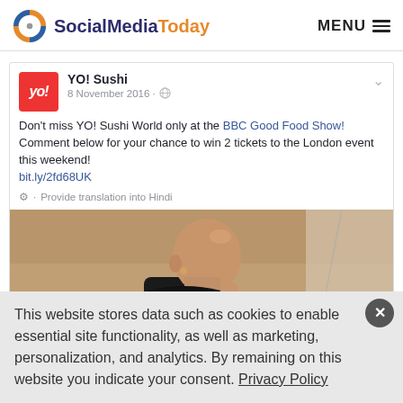SocialMediaToday  MENU
YO! Sushi
8 November 2016
Don't miss YO! Sushi World only at the BBC Good Food Show! Comment below for your chance to win 2 tickets to the London event this weekend! bit.ly/2fd68UK
Provide translation into Hindi
[Figure (photo): Bald man in dark jacket speaking at an event, profile view, with audience blurred in background]
This website stores data such as cookies to enable essential site functionality, as well as marketing, personalization, and analytics. By remaining on this website you indicate your consent. Privacy Policy